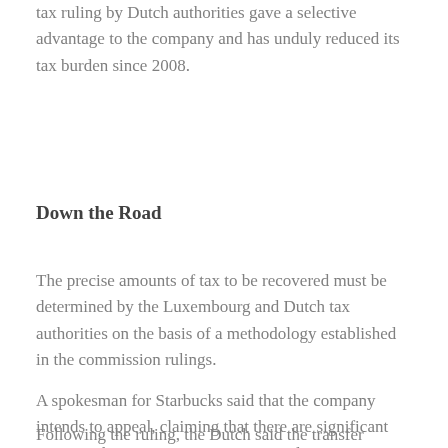tax ruling by Dutch authorities gave a selective advantage to the company and has unduly reduced its tax burden since 2008.
Down the Road
The precise amounts of tax to be recovered must be determined by the Luxembourg and Dutch tax authorities on the basis of a methodology established in the commission rulings.
A spokesman for Starbucks said that the company intends to appeal, claiming that there are significant errors in the European Commission's decision.
Following the ruling, the Dutch said the transfer